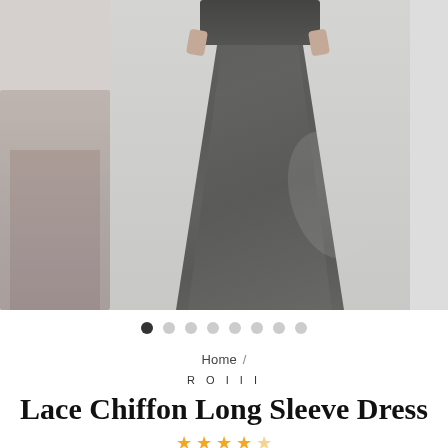[Figure (photo): Product photo of a woman wearing a long charcoal grey chiffon dress with lace sleeves, shown from waist down. A second cropped dress image appears on the left side. Image carousel with dot navigation.]
Home /
ROIII
Lace Chiffon Long Sleeve Dress
[Figure (other): Star rating row - 5 stars (partially visible, gold/outlined stars)]